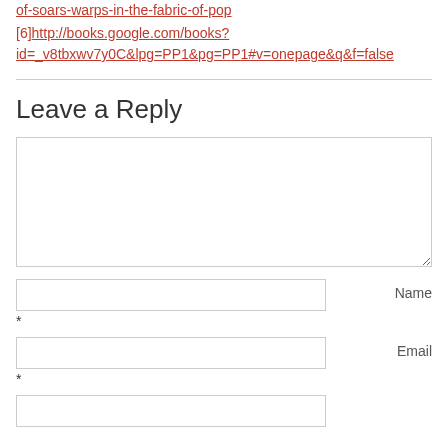of-soars-warps-in-the-fabric-of-pop
[6]http://books.google.com/books?id=_v8tbxwv7y0C&lpg=PP1&pg=PP1#v=onepage&q&f=false
Leave a Reply
[comment textarea]
Name *
Email *
[additional input field]